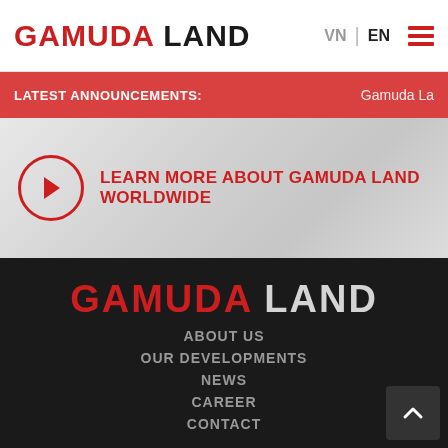GAMUDA LAND — VN | EN
LATEST ANNOUNCEMENTS: Gamuda La
[Figure (other): Play button circle with text: LEARN MORE ABOUT GAMUDA LAND WORLDWIDE on grey geometric background]
GAMUDA LAND
ABOUT US
OUR DEVELOPMENTS
NEWS
CAREER
CONTACT